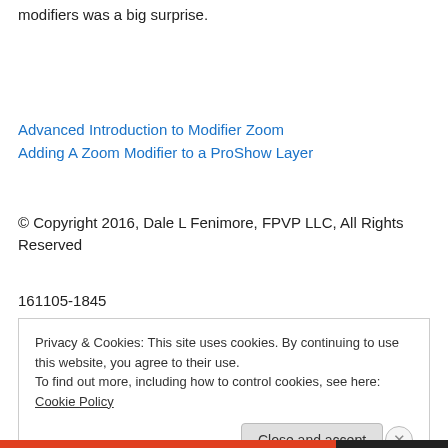modifiers was a big surprise.
Advanced Introduction to Modifier Zoom
Adding A Zoom Modifier to a ProShow Layer
© Copyright 2016, Dale L Fenimore, FPVP LLC, All Rights Reserved
161105-1845
Privacy & Cookies: This site uses cookies. By continuing to use this website, you agree to their use.
To find out more, including how to control cookies, see here: Cookie Policy